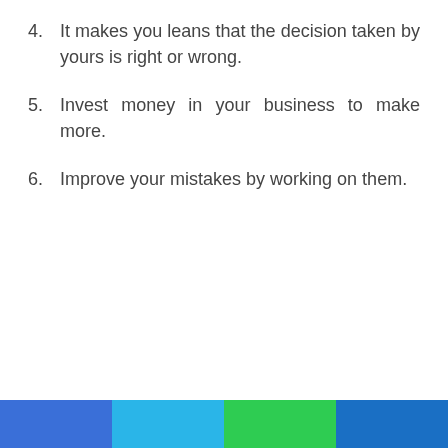4. It makes you leans that the decision taken by yours is right or wrong.
5. Invest money in your business to make more.
6. Improve your mistakes by working on them.